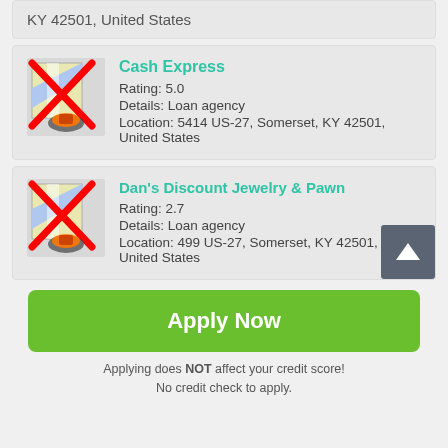KY 42501, United States
Cash Express
Rating: 5.0
Details: Loan agency
Location: 5414 US-27, Somerset, KY 42501, United States
Dan's Discount Jewelry & Pawn
Rating: 2.7
Details: Loan agency
Location: 499 US-27, Somerset, KY 42501, United States
Apply Now
Applying does NOT affect your credit score!
No credit check to apply.